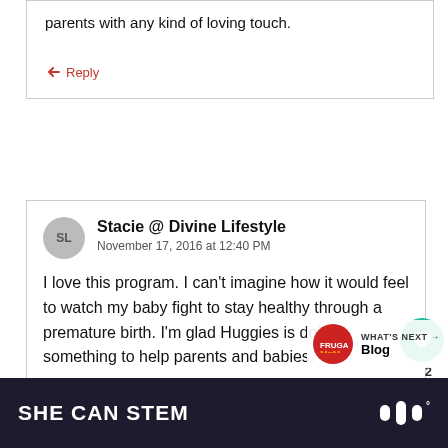parents with any kind of loving touch.
Reply
Stacie @ Divine Lifestyle
November 17, 2016 at 12:40 PM
I love this program. I can't imagine how it would feel to watch my baby fight to stay healthy through a premature birth. I'm glad Huggies is doing something to help parents and babies.
Reply
WHAT'S NEXT → Blog
SHE CAN STEM